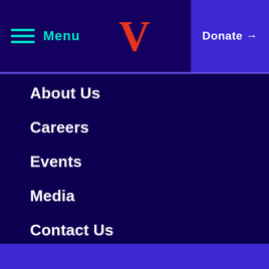Menu | V | Donate →
About Us
Careers
Events
Media
Contact Us
Keep up with us on social media.
[Figure (other): Social media icons: Twitter, Facebook, Instagram, YouTube — teal square buttons on dark purple background]